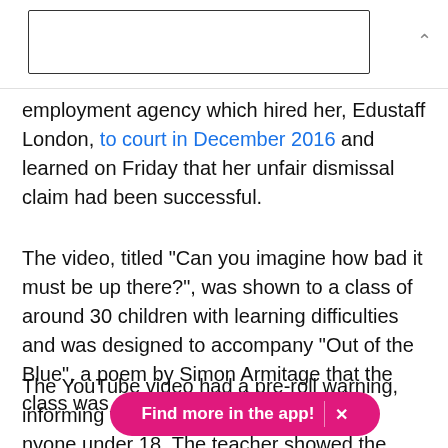[Figure (other): Search box input field with a chevron/collapse arrow on the right]
employment agency which hired her, Edustaff London, to court in December 2016 and learned on Friday that her unfair dismissal claim had been successful.
The video, titled "Can you imagine how bad it must be up there?", was shown to a class of around 30 children with learning difficulties and was designed to accompany "Out of the Blue", a poem by Simon Armitage that the class was studying.
The YouTube video had a pre-roll warning, informing viewers that [Find more in the app! X] anyone under 18. The teacher showed the video anyway and told